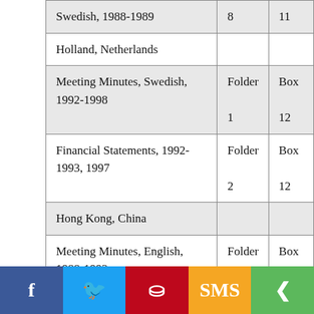| Description | Folder | Box |
| --- | --- | --- |
| Swedish, 1988-1989 | 8 | 11 |
| Holland, Netherlands |  |  |
| Meeting Minutes, Swedish, 1992-1998 | Folder
1 | Box
12 |
| Financial Statements, 1992-1993, 1997 | Folder
2 | Box
12 |
| Hong Kong, China |  |  |
| Meeting Minutes, English, 1988-1993 | Folder
3 | Box
12 |
| Meeting Minutes, English/Swedish, 1994- | Folder | Box |